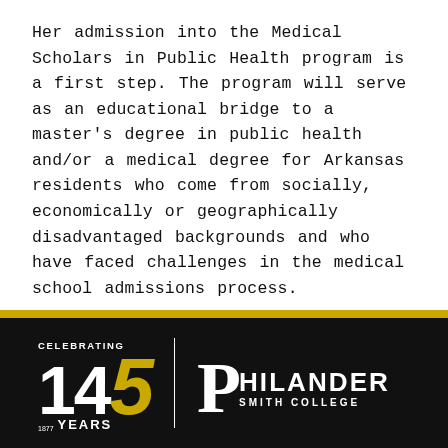Her admission into the Medical Scholars in Public Health program is a first step. The program will serve as an educational bridge to a master's degree in public health and/or a medical degree for Arkansas residents who come from socially, economically or geographically disadvantaged backgrounds and who have faced challenges in the medical school admissions process.
[Figure (logo): Philander Smith College footer with gold bar separator. Black background with 'Celebrating 145 Years' logo on the left (with 1877 founding year, 5 in gold italic), a vertical white divider, and Philander Smith College logo on the right with large P and HILANDER text, SMITH COLLEGE below.]